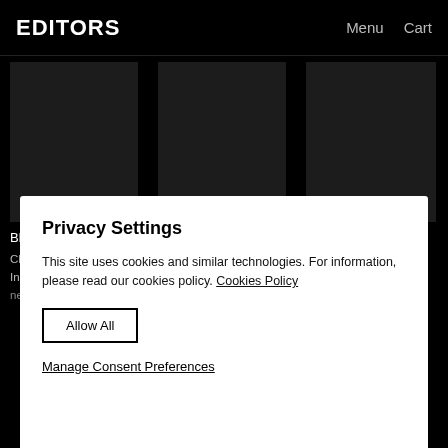EDITORS   Menu   Cart
Black Gold
CD – 2×CD – Includes 8 brand new stripped back
Black Gold
CD
$12.99
Black Gold
WAV / FLAC – Deluxe Version
$11.99
Privacy Settings
This site uses cookies and similar technologies. For information, please read our cookies policy. Cookies Policy
Allow All
Manage Consent Preferences